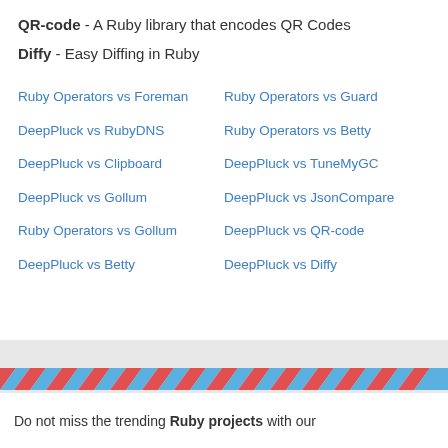QR-code - A Ruby library that encodes QR Codes
Diffy - Easy Diffing in Ruby
Ruby Operators vs Foreman
Ruby Operators vs Guard
DeepPluck vs RubyDNS
Ruby Operators vs Betty
DeepPluck vs Clipboard
DeepPluck vs TuneMyGC
DeepPluck vs Gollum
DeepPluck vs JsonCompare
Ruby Operators vs Gollum
DeepPluck vs QR-code
DeepPluck vs Betty
DeepPluck vs Diffy
Do not miss the trending Ruby projects with our